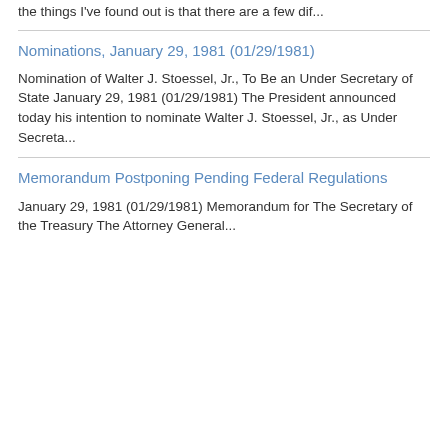the things I've found out is that there are a few dif...
Nominations, January 29, 1981 (01/29/1981)
Nomination of Walter J. Stoessel, Jr., To Be an Under Secretary of State January 29, 1981 (01/29/1981) The President announced today his intention to nominate Walter J. Stoessel, Jr., as Under Secreta...
Memorandum Postponing Pending Federal Regulations
January 29, 1981 (01/29/1981) Memorandum for The Secretary of the Treasury The Attorney General...